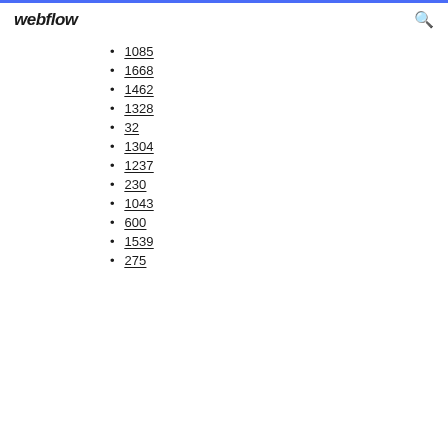webflow
1085
1668
1462
1328
32
1304
1237
230
1043
600
1539
275